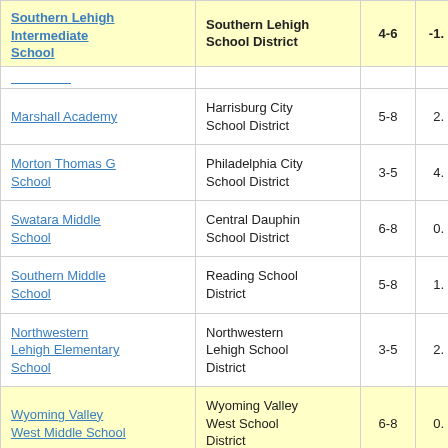| School | District | Grades | Value |
| --- | --- | --- | --- |
| Southern Lehigh Intermediate School | Southern Lehigh School District | 4-6 | -1. |
| (partial row visible) |  |  |  |
| Marshall Academy | Harrisburg City School District | 5-8 | 2. |
| Morton Thomas G School | Philadelphia City School District | 3-5 | 4. |
| Swatara Middle School | Central Dauphin School District | 6-8 | 0. |
| Southern Middle School | Reading School District | 5-8 | 1. |
| Northwestern Lehigh Elementary School | Northwestern Lehigh School District | 3-5 | 2. |
| Wyoming Valley West Middle School | Wyoming Valley West School District | 6-8 | 0. |
| (partial row visible) |  |  |  |